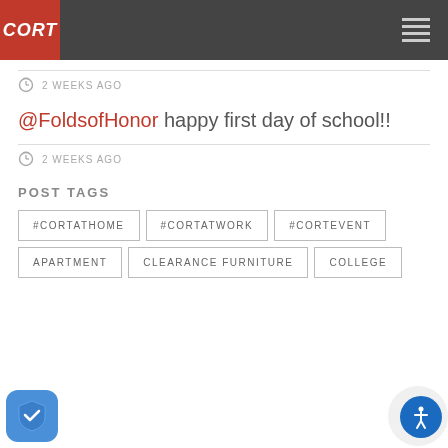CORT
2 WEEKS AGO
@FoldsofHonor happy first day of school!!
2 WEEKS AGO
POST TAGS
#CORTATHOME
#CORTATWORK
#CORTEVENT
APARTMENT
CLEARANCE FURNITURE
COLLEGE